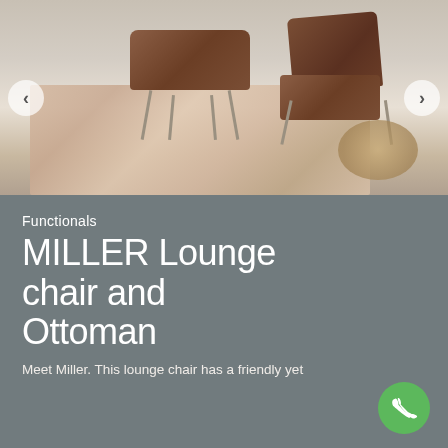[Figure (photo): Interior photo showing two brown leather chairs — a footstool/ottoman and a lounge chair — on a patterned geometric rug on a concrete floor, with a side table partially visible on the right.]
Functionals
MILLER Lounge chair and Ottoman
Meet Miller. This lounge chair has a friendly yet